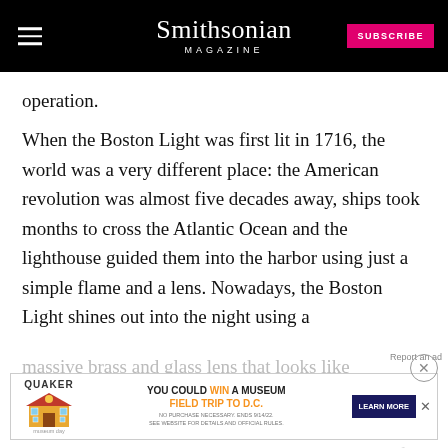Smithsonian MAGAZINE
operation.
When the Boston Light was first lit in 1716, the world was a very different place: the American revolution was almost five decades away, ships took months to cross the Atlantic Ocean and the lighthouse guided them into the harbor using just a simple flame and a lens. Nowadays, the Boston Light shines out into the night using a
massive brass and glass lens that looks like a scu
[Figure (screenshot): Advertisement banner: Quaker Museum Day promotion — 'YOU COULD WIN A MUSEUM FIELD TRIP TO D.C.' with LEARN MORE button]
computers. One thing has remained the same